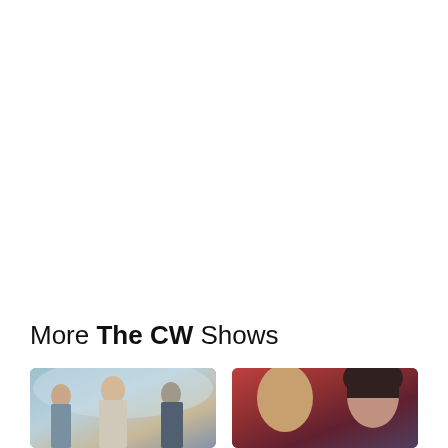More The CW Shows
[Figure (photo): Promotional photo of CW show cast members, multiple actors in a moody blue-toned outdoor setting]
[Figure (photo): Promotional photo of CW show, close-up of a man and woman against a dark red background]